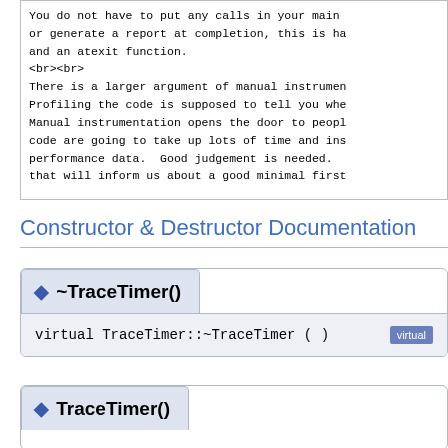You do not have to put any calls in your main or generate a report at completion, this is handled by a constructor and an atexit function.
<br><br>
There is a larger argument of manual instrumentation. Profiling the code is supposed to tell you where... Manual instrumentation opens the door to people... code are going to take up lots of time and instrumentation performance data.  Good judgement is needed. that will inform us about a good minimal first
Constructor & Destructor Documentation
◆ ~TraceTimer()
virtual TraceTimer::~TraceTimer ( ) virtual
◆ TraceTimer()